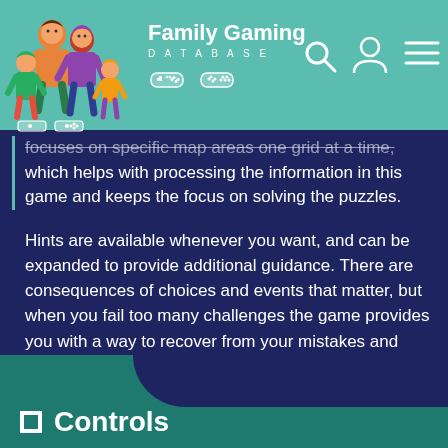Family Gaming DATABASE
focuses on specific map areas one grid at a time, which helps with processing the information in this game and keeps the focus on solving the puzzles.
Hints are available whenever you want, and can be expanded to provide additional guidance. There are consequences of choices and events that matter, but when you fail too many challenges the game provides you with a way to recover from your mistakes and continue moving forward.
Controls